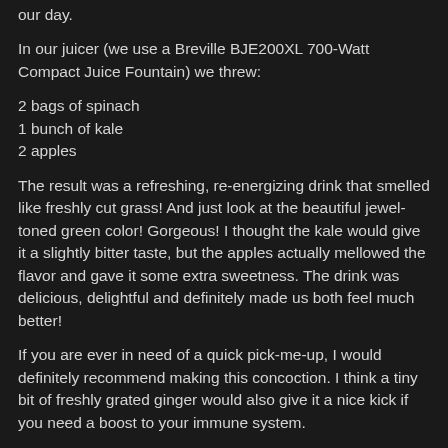our day.
In our juicer (we use a Breville BJE200XL 700-Watt Compact Juice Fountain) we threw:
2 bags of spinach
1 bunch of kale
2 apples
The result was a refreshing, re-energizing drink that smelled like freshly cut grass! And just look at the beautiful jewel-toned green color! Gorgeous! I thought the kale would give it a slightly bitter taste, but the apples actually mellowed the flavor and gave it some extra sweetness. The drink was delicious, delightful and definitely made us both feel much better!
If you are ever in need of a quick pick-me-up, I would definitely recommend making this concoction. I think a tiny bit of freshly grated ginger would also give it a nice kick if you need a boost to your immune system.